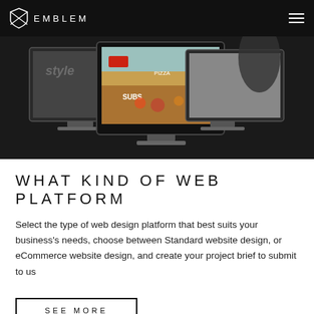EMBLEM
[Figure (screenshot): Three computer monitors displayed against a dark background, the center monitor showing a colorful illustrated restaurant/food scene with text 'SUBS', 'PIZZA', 'FUN'. Left monitor shows a black and white textured image. Right monitor shows a black and white portrait photo.]
WHAT KIND OF WEB PLATFORM
Select the type of web design platform that best suits your business's needs, choose between Standard website design, or eCommerce website design, and create your project brief to submit to us
SEE MORE